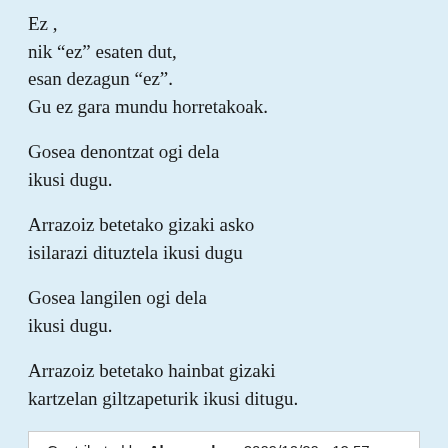Ez ,
nik “ez” esaten dut,
esan dezagun “ez”.
Gu ez gara mundu horretakoak.
Gosea denontzat ogi dela
ikusi dugu.
Arrazoiz betetako gizaki asko
isilarazi dituztela ikusi dugu
Gosea langilen ogi dela
ikusi dugu.
Arrazoiz betetako hainbat gizaki
kartzelan giltzapeturik ikusi ditugu.
Contributed by Alessandro - 2009/10/20 - 12:57
compare to original
compare to other versions